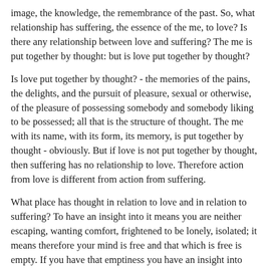image, the knowledge, the remembrance of the past. So, what relationship has suffering, the essence of the me, to love? Is there any relationship between love and suffering? The me is put together by thought: but is love put together by thought?
Is love put together by thought? - the memories of the pains, the delights, and the pursuit of pleasure, sexual or otherwise, of the pleasure of possessing somebody and somebody liking to be possessed; all that is the structure of thought. The me with its name, with its form, its memory, is put together by thought - obviously. But if love is not put together by thought, then suffering has no relationship to love. Therefore action from love is different from action from suffering.
What place has thought in relation to love and in relation to suffering? To have an insight into it means you are neither escaping, wanting comfort, frightened to be lonely, isolated; it means therefore your mind is free and that which is free is empty. If you have that emptiness you have an insight into suffering. Then suffering as the me disappears. There is immediate action because that is so; action then is from love, not from suffering.
One discovers that action from suffering is the action of the me and that therefore there is constant conflict. One can see the logic of it all, the reason for it. Only so is it possible to love without a shadow